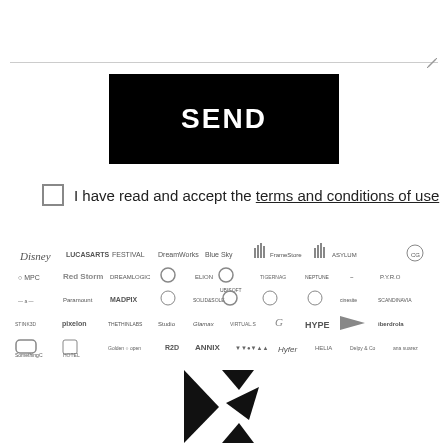[Figure (other): Horizontal divider line with pencil/edit icon on the right]
[Figure (other): Black SEND button]
I have read and accept the terms and conditions of use
[Figure (other): Grid of company logos including Disney, LucasArts, Blue Sky, Ubisoft, MPC, Red Storm, DreamWorks, Pixelon, MADPIX, Hype, Iberdrola, and many others]
[Figure (logo): Abstract geometric logo made of triangular black shapes, bottom center of page]